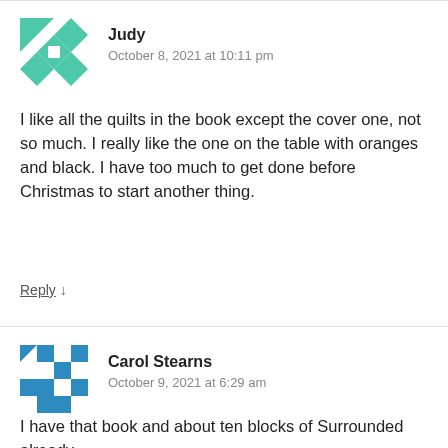[Figure (illustration): Teal/green quilt block avatar icon for user Judy]
Judy
October 8, 2021 at 10:11 pm
I like all the quilts in the book except the cover one, not so much. I really like the one on the table with oranges and black. I have too much to get done before Christmas to start another thing.
Reply ↓
[Figure (illustration): Blue and white quilt block avatar icon for user Carol Stearns]
Carol Stearns
October 9, 2021 at 6:29 am
I have that book and about ten blocks of Surrounded already completed along with all the quizzes to start for the next step